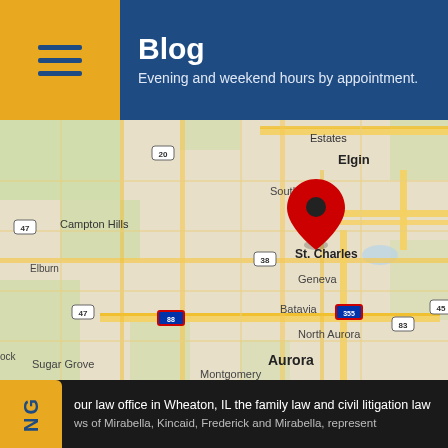Blog
Evening and weekend hours by appointment.
[Figure (map): Google Maps screenshot showing the Chicago western suburbs area including St. Charles, Wheaton, Elgin, Schaumburg, Naperville, Aurora, and surrounding cities. Two red map pin markers are placed: one over St. Charles and one over Wheaton, IL.]
our law office in Wheaton, IL the family law and civil litigation law ws of Mirabella, Kincaid, Frederick and Mirabella, represent